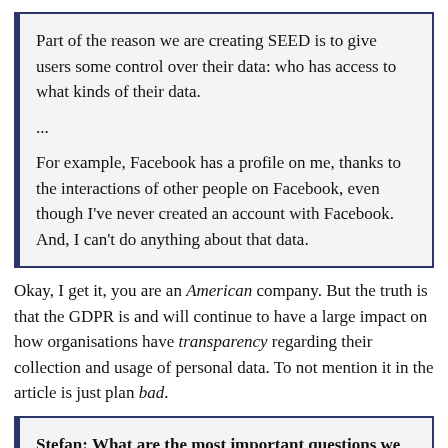Part of the reason we are creating SEED is to give users some control over their data: who has access to what kinds of their data.

...

For example, Facebook has a profile on me, thanks to the interactions of other people on Facebook, even though I've never created an account with Facebook. And, I can't do anything about that data.
Okay, I get it, you are an American company. But the truth is that the GDPR is and will continue to have a large impact on how organisations have transparency regarding their collection and usage of personal data. To not mention it in the article is just plan bad.
Stefan: What are the most important questions we should